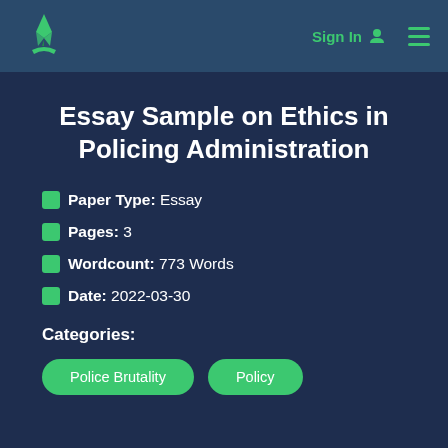Sign In  ☰
Essay Sample on Ethics in Policing Administration
Paper Type: Essay
Pages: 3
Wordcount: 773 Words
Date: 2022-03-30
Categories:
Police Brutality  Policy